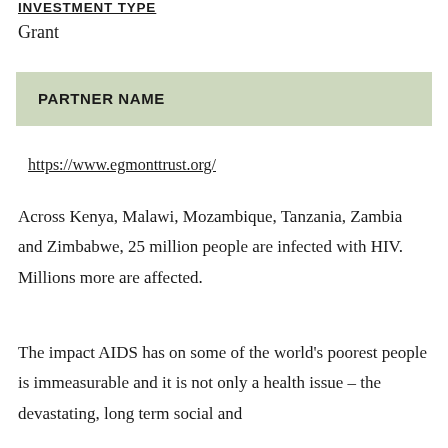INVESTMENT TYPE
Grant
PARTNER NAME
https://www.egmonttrust.org/
Across Kenya, Malawi, Mozambique, Tanzania, Zambia and Zimbabwe, 25 million people are infected with HIV. Millions more are affected.
The impact AIDS has on some of the world's poorest people is immeasurable and it is not only a health issue – the devastating, long term social and